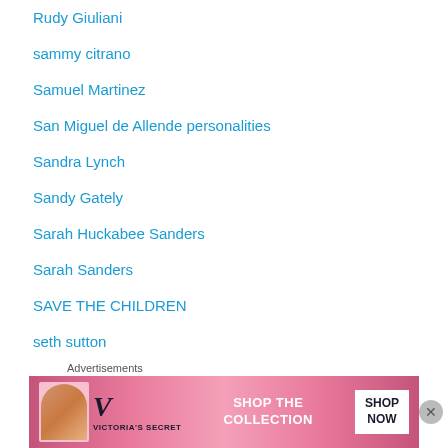Rudy Giuliani
sammy citrano
Samuel Martinez
San Miguel de Allende personalities
Sandra Lynch
Sandy Gately
Sarah Huckabee Sanders
Sarah Sanders
SAVE THE CHILDREN
seth sutton
Seth Sutton Attempted Murder
[Figure (photo): Victoria's Secret advertisement banner with model, VS logo, 'SHOP THE COLLECTION' text, and 'SHOP NOW' button on pink background]